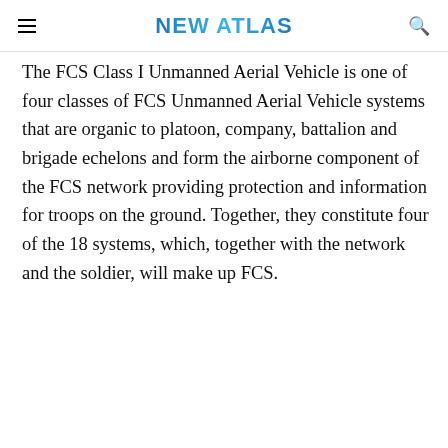NEW ATLAS
The FCS Class I Unmanned Aerial Vehicle is one of four classes of FCS Unmanned Aerial Vehicle systems that are organic to platoon, company, battalion and brigade echelons and form the airborne component of the FCS network providing protection and information for troops on the ground. Together, they constitute four of the 18 systems, which, together with the network and the soldier, will make up FCS.